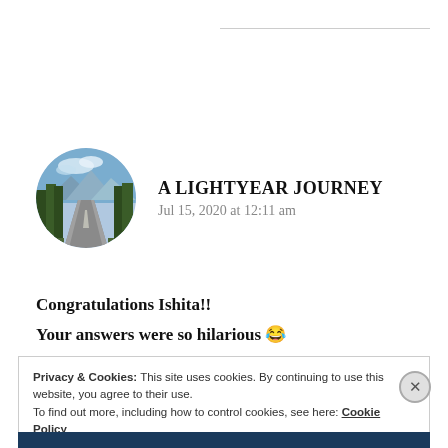[Figure (photo): Circular avatar photo showing a road flanked by tall trees with mountains and blue sky in the background]
A LIGHTYEAR JOURNEY
Jul 15, 2020 at 12:11 am
Congratulations Ishita!!
Your answers were so hilarious 😂
Privacy & Cookies: This site uses cookies. By continuing to use this website, you agree to their use.
To find out more, including how to control cookies, see here: Cookie Policy
Close and accept